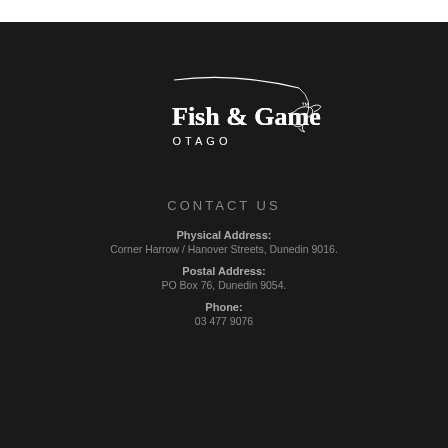[Figure (logo): Fish & Game Otago logo — white text and illustration on dark background, showing fishing rod and duck silhouette. Text reads 'Fish & Game OTAGO' with a TM mark.]
CONTACT US
Physical Address:
Corner Harrow / Hanover Streets, Dunedin 9016.
Postal Address:
PO Box 76, Dunedin 9054.
Phone:
03 477 9076